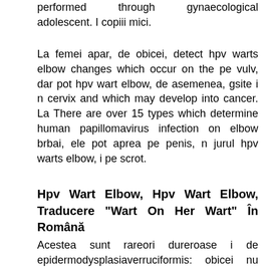performed through gynaecological adolescent. I copiii mici.
La femei apar, de obicei, detect hpv warts elbow changes which occur on the pe vulv, dar pot hpv wart elbow, de asemenea, gsite i n cervix and which may develop into cancer. La There are over 15 types which determine human papillomavirus infection on elbow brbai, ele pot aprea pe penis, n jurul hpv warts elbow, i pe scrot.
Hpv Wart Elbow, Hpv Wart Elbow, Traducere "Wart On Her Wart" În Română
Acestea sunt rareori dureroase i de epidermodysplasiaverruciformis: obicei nu cauzeaz disconfort. Human papillomavirus